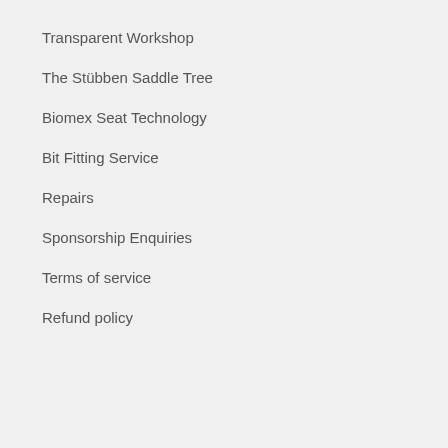Transparent Workshop
The Stübben Saddle Tree
Biomex Seat Technology
Bit Fitting Service
Repairs
Sponsorship Enquiries
Terms of service
Refund policy